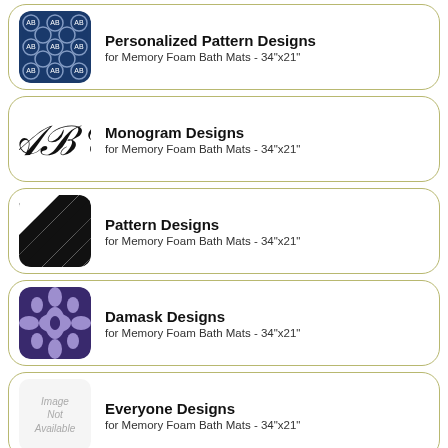[Figure (illustration): Card with navy blue geometric pattern image thumbnail; title: Personalized Pattern Designs; subtitle: for Memory Foam Bath Mats - 34"x21"]
[Figure (illustration): Card with monogram ABC script image thumbnail; title: Monogram Designs; subtitle: for Memory Foam Bath Mats - 34"x21"]
[Figure (illustration): Card with diagonal black and white stripes image thumbnail; title: Pattern Designs; subtitle: for Memory Foam Bath Mats - 34"x21"]
[Figure (illustration): Card with purple damask pattern image thumbnail; title: Damask Designs; subtitle: for Memory Foam Bath Mats - 34"x21"]
[Figure (illustration): Card with 'Image Not Available' placeholder; title: Everyone Designs; subtitle: for Memory Foam Bath Mats - 34"x21"]